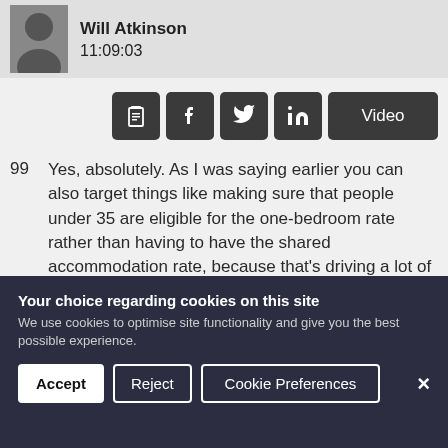[Figure (photo): Author avatar (silhouette) with name Will Atkinson and timestamp 11:09:03]
Will Atkinson
11:09:03
[Figure (other): Social sharing icons row: clipboard, Facebook, Twitter, LinkedIn, Video button]
99 Yes, absolutely. As I was saying earlier you can also target things like making sure that people under 35 are eligible for the one-bedroom rate rather than having to have the shared accommodation rate, because that's driving a lot of homelessness. So, I think that the £7 million to bring LHA rates back up to that level is almost a worst-case scenario. That's if you bring them all back up to that level. But, if you target it— And that's what
Your choice regarding cookies on this site
We use cookies to optimise site functionality and give you the best possible experience.
Accept  Reject  Cookie Preferences  ×